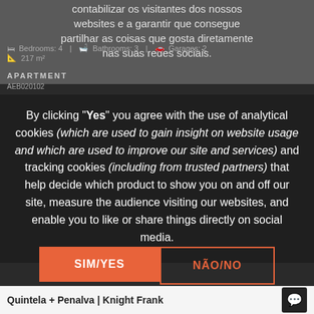contabilizar os visitantes dos nossos websites e a garantir que consegue partilhar as coisas que gosta diretamente nas suas redes sociais.
Bedrooms: 4  |  Bathrooms: 3  |  Garages: 2  217 m²
APARTMENT
AEB020102
By clicking "Yes" you agree with the use of analytical cookies (which are used to gain insight on website usage and which are used to improve our site and services) and tracking cookies (including from trusted partners) that help decide which product to show you on and off our site, measure the audience visiting our websites, and enable you to like or share things directly on social media.
SIM/YES
NÃO/NO
Quintela + Penalva | Knight Frank